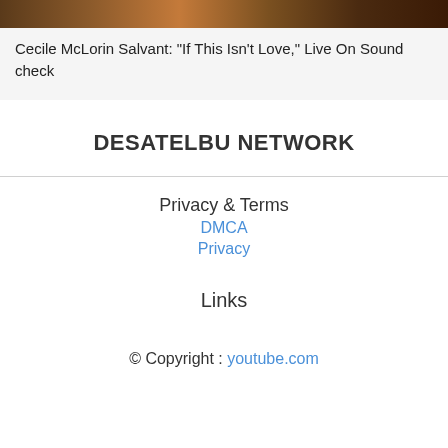[Figure (photo): Partial photo strip showing a live music performance, cropped at top of page]
Cecile McLorin Salvant: "If This Isn't Love," Live On Soundcheck
DESATELBU NETWORK
Privacy & Terms
DMCA
Privacy
Links
© Copyright : youtube.com